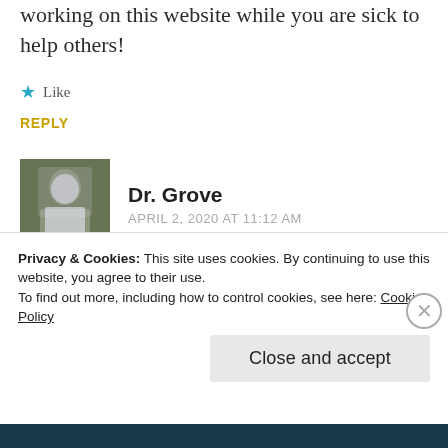working on this website while you are sick to help others!
★ Like
REPLY
[Figure (photo): Avatar photo of Dr. Grove, a person in white clothing]
Dr. Grove
APRIL 2, 2020 AT 11:12 AM
I agree with you.
★ Like
REPLY
Privacy & Cookies: This site uses cookies. By continuing to use this website, you agree to their use.
To find out more, including how to control cookies, see here: Cookie Policy
Close and accept